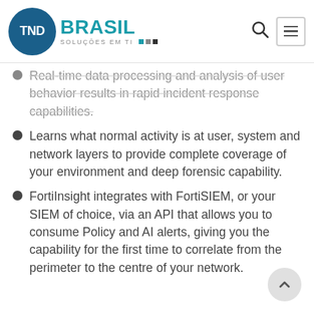TND BRASIL — SOLUÇÕES EM TI (navigation header with logo, search icon, and menu icon)
Real-time data processing and analysis of user behavior results in rapid incident response capabilities.
Learns what normal activity is at user, system and network layers to provide complete coverage of your environment and deep forensic capability.
FortiInsight integrates with FortiSIEM, or your SIEM of choice, via an API that allows you to consume Policy and AI alerts, giving you the capability for the first time to correlate from the perimeter to the centre of your network.